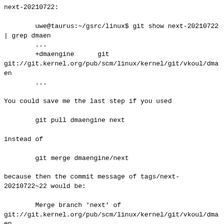next-20210722:

        uwe@taurus:~/gsrc/linux$ git show next-20210722
| grep dmaen
        ...
        +dmaengine      git
git://git.kernel.org/pub/scm/linux/kernel/git/vkoul/dmaen
        ...

You could save me the last step if you used

        git pull dmaengine next

instead of

        git merge dmaengine/next

because then the commit message of tags/next-
20210722~22 would be:

        Merge branch 'next' of
git://git.kernel.org/pub/scm/linux/kernel/git/vkoul/dmaen

which is much more useful than

        Merge remote-tracking branch 'dmaengine/next'

. Otherwise the result should be the same (apart from
fetching the
changes a tad later maybe).